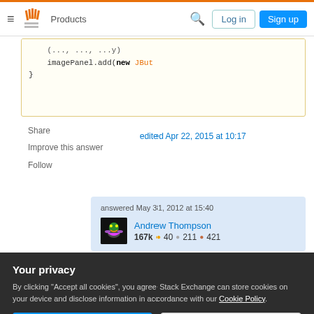≡  [StackOverflow logo]  Products  🔍  Log in  Sign up
[Figure (screenshot): Code snippet showing imagePanel.add(new JBut and closing brace on a light yellow background]
Share
Improve this answer
Follow
edited Apr 22, 2015 at 10:17
answered May 31, 2012 at 15:40
Andrew Thompson
167k ● 40 ● 211 ● 421
Thanks for this neat SSCCE, I was unaware that
Your privacy
By clicking "Accept all cookies", you agree Stack Exchange can store cookies on your device and disclose information in accordance with our Cookie Policy.
Accept all cookies   Customize settings